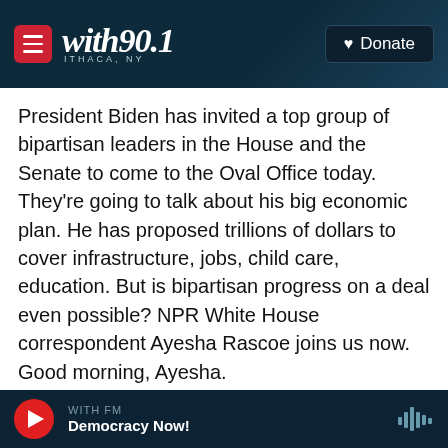with90.1 ITHACA, NY | Donate
President Biden has invited a top group of bipartisan leaders in the House and the Senate to come to the Oval Office today. They're going to talk about his big economic plan. He has proposed trillions of dollars to cover infrastructure, jobs, child care, education. But is bipartisan progress on a deal even possible? NPR White House correspondent Ayesha Rascoe joins us now. Good morning, Ayesha.
AYESHA RASCOE, BYLINE: Good morning.
MARTIN: All right. So I'm going to tick off a bunch of
WITH FM | Democracy Now!